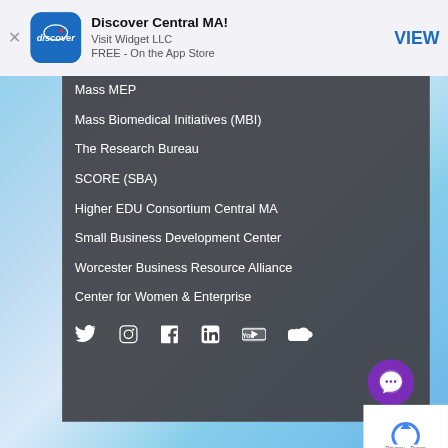[Figure (screenshot): App store banner with blue Discover Central MA app icon, app name, Visit Widget LLC, FREE - On the App Store, and VIEW button]
Mass MEP
Mass Biomedical Initiatives (MBI)
The Research Bureau
SCORE (SBA)
Higher EDU Consortium Central MA
Small Business Development Center
Worcester Business Resource Alliance
Center for Women & Enterprise
[Figure (screenshot): Social media icons: Twitter, Instagram, Facebook, LinkedIn, YouTube, SoundCloud]
[Figure (screenshot): Purple chat/message bubble icon overlay]
Privacy - Terms